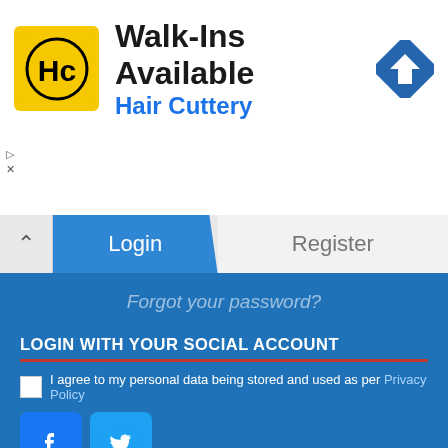[Figure (screenshot): Hair Cuttery advertisement banner with logo, 'Walk-Ins Available' headline, and map/navigation icon]
Walk-Ins Available
Hair Cuttery
Login
Register
Forgot your password?
LOGIN WITH YOUR SOCIAL ACCOUNT
I agree to my personal data being stored and used as per Privacy Policy
[Figure (screenshot): Facebook and Twitter social login buttons]
NEWS SEARCH
SEARCH ...